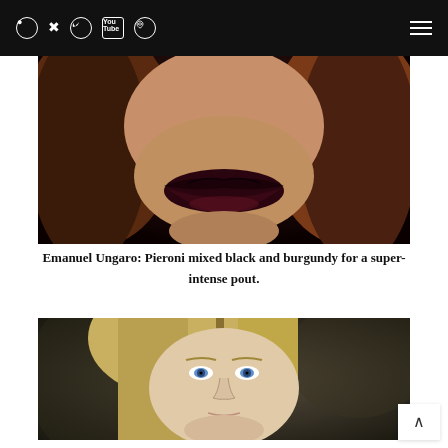Social media icons and navigation menu
[Figure (photo): Close-up of a model with dark burgundy and black lipstick, dramatic makeup, auburn hair, dark background]
Emanuel Ungaro: Pieroni mixed black and burgundy for a super-intense pout.
[Figure (photo): Blonde model with blue eyes, natural makeup, hair parted in center, dark stone background]